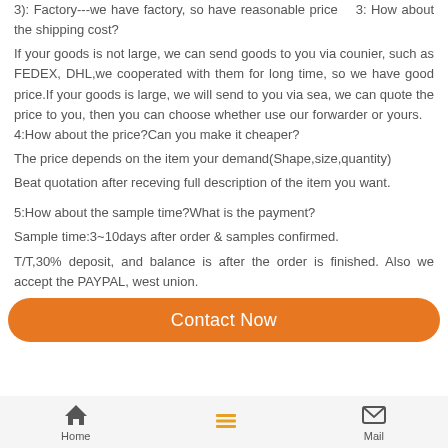3): Factory---we have factory, so have reasonable price   3: How about the shipping cost?
If your goods is not large, we can send goods to you via counier, such as FEDEX, DHL,we cooperated with them for long time, so we have good price.If your goods is large, we will send to you via sea, we can quote the price to you, then you can choose whether use our forwarder or yours.   4:How about the price?Can you make it cheaper?
The price depends on the item your demand(Shape,size,quantity)
Beat quotation after receving full description of the item you want.
5:How about the sample time?What is the payment?
Sample time:3~10days after order & samples confirmed.
T/T,30% deposit, and balance is after the order is finished. Also we accept the PAYPAL, west union.
Other Products
Contact Now
Home  [menu]  Mail